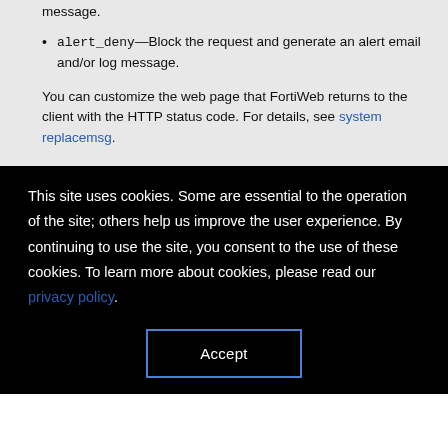message.
alert_deny—Block the request and generate an alert email and/or log message.
You can customize the web page that FortiWeb returns to the client with the HTTP status code. For details, see system replacemsg.
This site uses cookies. Some are essential to the operation of the site; others help us improve the user experience. By continuing to use the site, you consent to the use of these cookies. To learn more about cookies, please read our privacy policy.